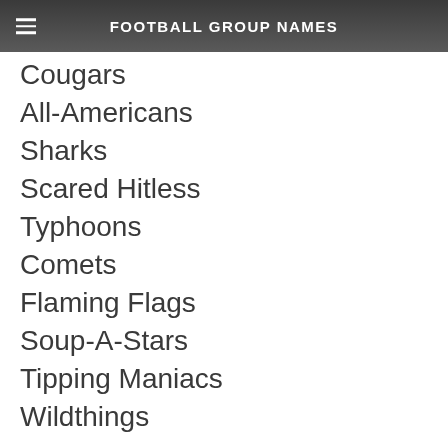FOOTBALL GROUP NAMES
Cougars
All-Americans
Sharks
Scared Hitless
Typhoons
Comets
Flaming Flags
Soup-A-Stars
Tipping Maniacs
Wildthings